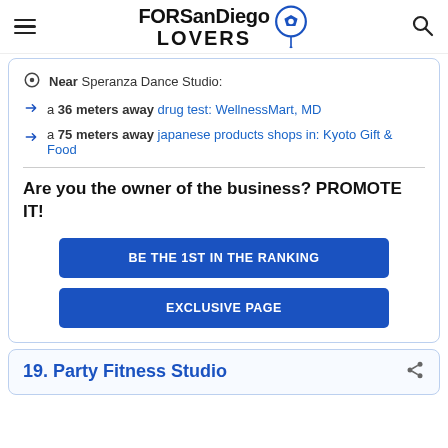FORSanDiegoLOVERS
Near Speranza Dance Studio:
a 36 meters away drug test: WellnessMart, MD
a 75 meters away japanese products shops in: Kyoto Gift & Food
Are you the owner of the business? PROMOTE IT!
BE THE 1ST IN THE RANKING
EXCLUSIVE PAGE
19. Party Fitness Studio